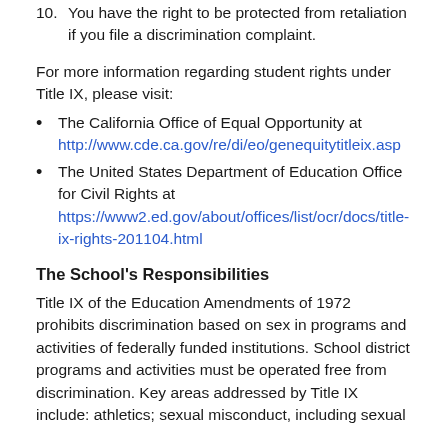10. You have the right to be protected from retaliation if you file a discrimination complaint.
For more information regarding student rights under Title IX, please visit:
The California Office of Equal Opportunity at http://www.cde.ca.gov/re/di/eo/genequitytitleix.asp
The United States Department of Education Office for Civil Rights at https://www2.ed.gov/about/offices/list/ocr/docs/title-ix-rights-201104.html
The School's Responsibilities
Title IX of the Education Amendments of 1972 prohibits discrimination based on sex in programs and activities of federally funded institutions. School district programs and activities must be operated free from discrimination. Key areas addressed by Title IX include: athletics; sexual misconduct, including sexual